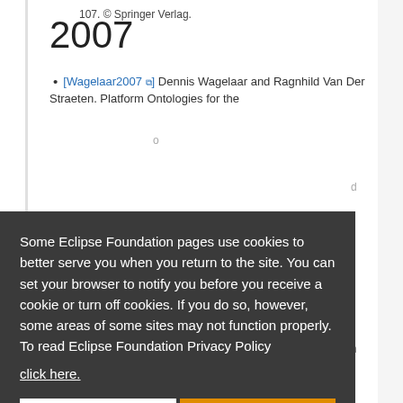107. © Springer Verlag.
2007
[Wagelaar2007] Dennis Wagelaar and Ragnhild Van Der Straeten. Platform Ontologies for the
Some Eclipse Foundation pages use cookies to better serve you when you return to the site. You can set your browser to notify you before you receive a cookie or turn off cookies. If you do so, however, some areas of some sites may not function properly. To read Eclipse Foundation Privacy Policy click here.
Decline
Allow cookies